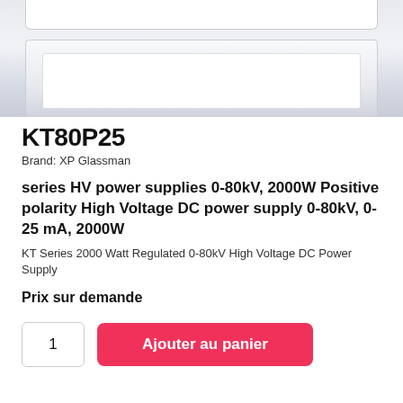[Figure (photo): Product image of KT80P25 high voltage power supply, showing white/silver rectangular device, partially visible at top of page]
KT80P25
Brand: XP Glassman
series HV power supplies 0-80kV, 2000W Positive polarity High Voltage DC power supply 0-80kV, 0-25 mA, 2000W
KT Series 2000 Watt Regulated 0-80kV High Voltage DC Power Supply
Prix sur demande
1
Ajouter au panier